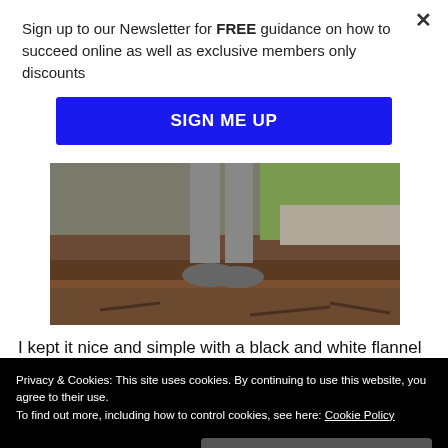Sign up to our Newsletter for FREE guidance on how to succeed online as well as exclusive members only discounts
[Figure (other): Blue 'SIGN ME UP' button for newsletter signup]
[Figure (photo): Photo showing person's legs and feet wearing grey sneakers standing on a wooden ledge with dirt and stone wall behind, grass visible in background]
I kept it nice and simple with a black and white flannel
Privacy & Cookies: This site uses cookies. By continuing to use this website, you agree to their use.
To find out more, including how to control cookies, see here: Cookie Policy
Oh and anyone who fell for my April fools joke: I ain't